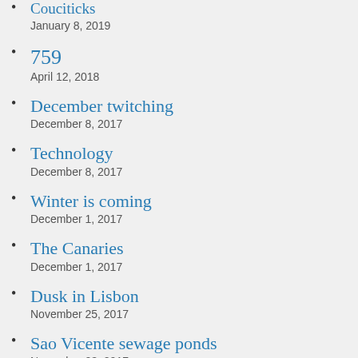Couciticks
January 8, 2019
759
April 12, 2018
December twitching
December 8, 2017
Technology
December 8, 2017
Winter is coming
December 1, 2017
The Canaries
December 1, 2017
Dusk in Lisbon
November 25, 2017
Sao Vicente sewage ponds
November 23, 2017
Paso and Branco